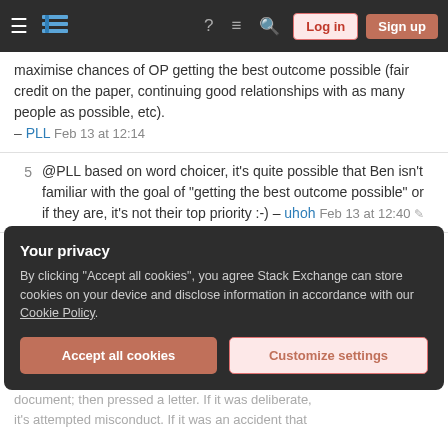Stack Exchange navigation bar with Log in and Sign up buttons
maximise chances of OP getting the best outcome possible (fair credit on the paper, continuing good relationships with as many people as possible, etc).
– PLL Feb 13 at 12:14
@PLL based on word choicer, it's quite possible that Ben isn't familiar with the goal of "getting the best outcome possible" or if they are, it's not their top priority :-) – uhoh Feb 13 at 12:40 ✎
In my view, the top priority and best outcome in this situation is reform, which is achieved by proceeding directly to an ethics complaint. Good relationships may be restored when the other party apologises for their
Your privacy
By clicking "Accept all cookies", you agree Stack Exchange can store cookies on your device and disclose information in accordance with our Cookie Policy.
document; then pressed a letter. If it was deliberate, it's attempted misconduct. If it was an accident that